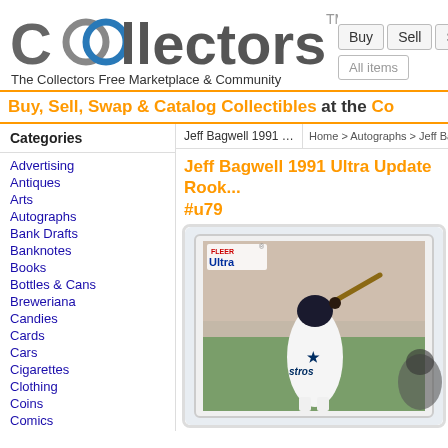[Figure (logo): Collectors website logo with two interlocking circles forming 'Co' and text 'llectors' with TM mark]
The Collectors Free Marketplace & Community
[Figure (screenshot): Navigation buttons: Buy, Sell, Swap and search box showing 'All items']
Buy, Sell, Swap & Catalog Collectibles at the Co
Categories
Jeff Bagwell 1991 Ul...
Home > Autographs > Jeff Ba
Jeff Bagwell 1991 Ultra Update Rook... #u79
Advertising
Antiques
Arts
Autographs
Bank Drafts
Banknotes
Books
Bottles & Cans
Breweriana
Candies
Cards
Cars
Cigarettes
Clothing
Coins
Comics
[Figure (photo): Jeff Bagwell 1991 Fleer Ultra baseball card showing player in Houston Astros uniform swinging a bat, card in protective case]